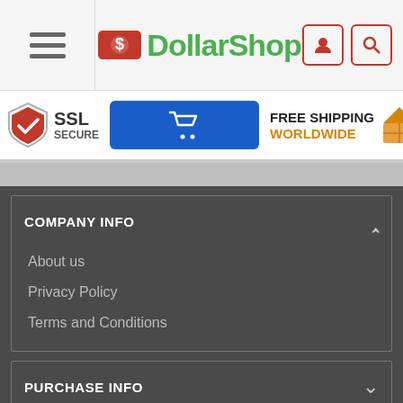DollarShop
[Figure (logo): DollarShop logo with red tag icon and green text]
[Figure (infographic): SSL Secure badge, blue cart button, Free Shipping Worldwide with box icon]
COMPANY INFO
About us
Privacy Policy
Terms and Conditions
PURCHASE INFO
CUSTOMER SERVICE